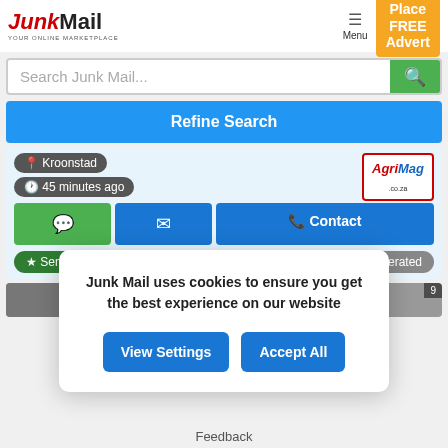[Figure (logo): JunkMail logo with tagline YOUR ONLINE MARKETPLACE]
Place FREE Advert
Search Junk Mail...
Refine Search
Kroonstad
45 minutes ago
[Figure (logo): AgriMag.co.za logo]
Contact
★ Senwes Kroo...
Moderated
Junk Mail uses cookies to ensure you get the best experience on our website
View Settings
Accept All
Feedback